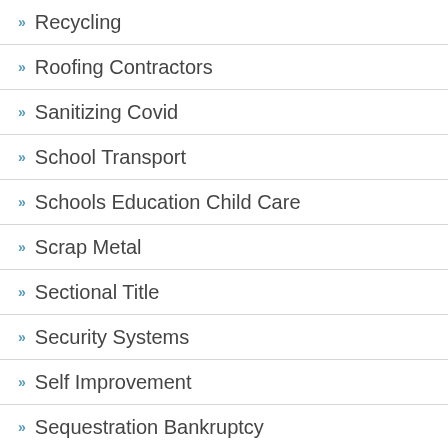Recycling
Roofing Contractors
Sanitizing Covid
School Transport
Schools Education Child Care
Scrap Metal
Sectional Title
Security Systems
Self Improvement
Sequestration Bankruptcy